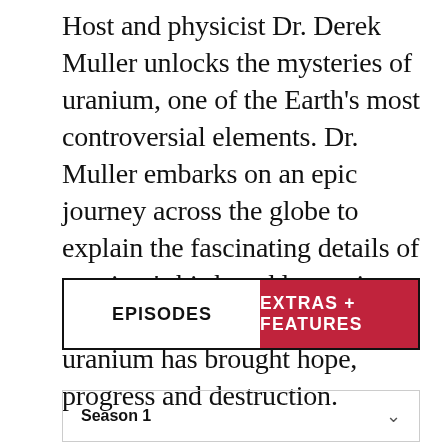Host and physicist Dr. Derek Muller unlocks the mysteries of uranium, one of the Earth's most controversial elements. Dr. Muller embarks on an epic journey across the globe to explain the fascinating details of uranium's birth and longevity. Born from the collapse of a star, uranium has brought hope, progress and destruction.
EPISODES | EXTRAS + FEATURES
Season 1